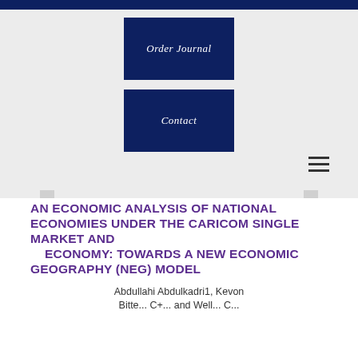[Figure (screenshot): Website navigation area with dark blue background top bar, two dark navy blue buttons labeled 'Order Journal' and 'Contact' in italic serif font, and a hamburger menu icon (three horizontal bars) at bottom right]
AN ECONOMIC ANALYSIS OF NATIONAL ECONOMIES UNDER THE CARICOM SINGLE MARKET AND ECONOMY: TOWARDS A NEW ECONOMIC GEOGRAPHY (NEG) MODEL
Abdullahi Abdulkadri1, Kevon Bitten, C+...